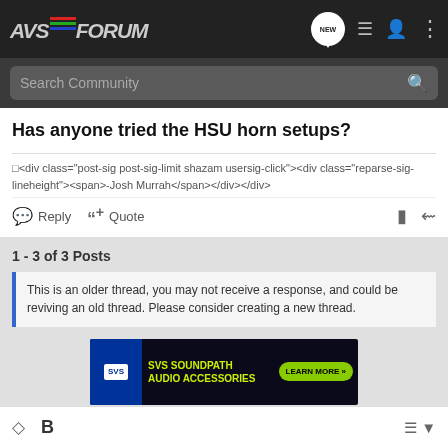AVSForum - Search Community
Has anyone tried the HSU horn setups?
□<div class="post-sig post-sig-limit shazam usersig-click"><div class="reparse-sig-lineheight"><span>-Josh Murrah</span></div></div>
Reply  Quote
1 - 3 of 3 Posts
This is an older thread, you may not receive a response, and could be reviving an old thread. Please consider creating a new thread.
[Figure (screenshot): SVS SoundPath Audio Accessories advertisement banner with logo and Learn More button]